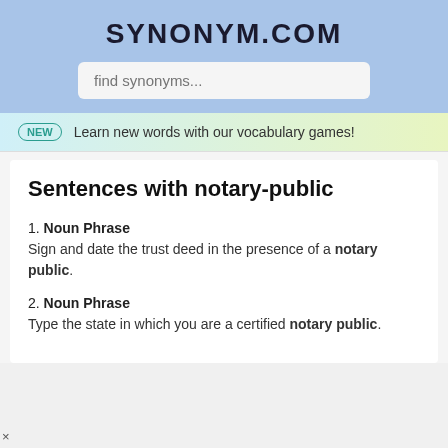SYNONYM.COM
find synonyms...
NEW  Learn new words with our vocabulary games!
Sentences with notary-public
1. Noun Phrase
Sign and date the trust deed in the presence of a notary public.
2. Noun Phrase
Type the state in which you are a certified notary public.